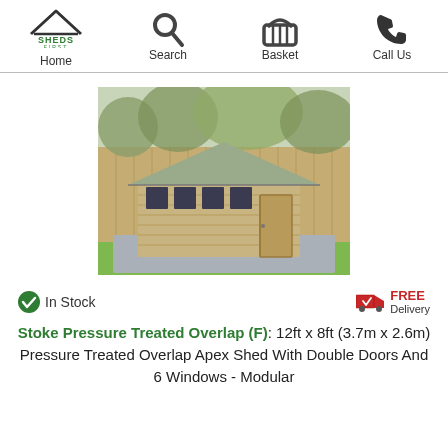Home  Search  Basket  Call Us
[Figure (photo): A wooden apex shed with double doors and multiple windows, sitting on a grey paved area in a garden, surrounded by a fence and trees.]
In Stock
FREE Delivery
Stoke Pressure Treated Overlap (F): 12ft x 8ft (3.7m x 2.6m) Pressure Treated Overlap Apex Shed With Double Doors And 6 Windows - Modular